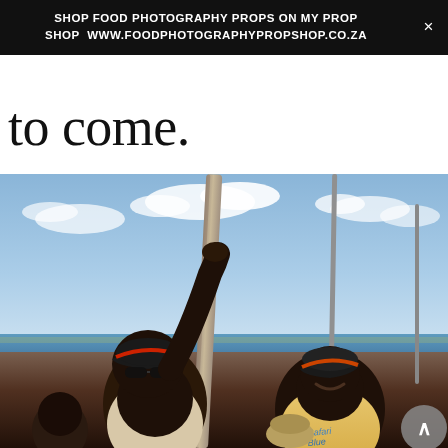SHOP FOOD PHOTOGRAPHY PROPS ON MY PROP
SHOP  WWW.FOODPHOTOGRAPHYPROPSHOP.CO.ZA
to come.
[Figure (photo): Two men on a sailboat. The man on the left wears a dark cap with sunglasses and reaches up to hold a thick rope/mast line. The man on the right wears an orange cap and a light yellow t-shirt reading 'Safari Blue', and is smiling. Blue sky with clouds in the background, water and distant shoreline visible. Other people partially visible.]